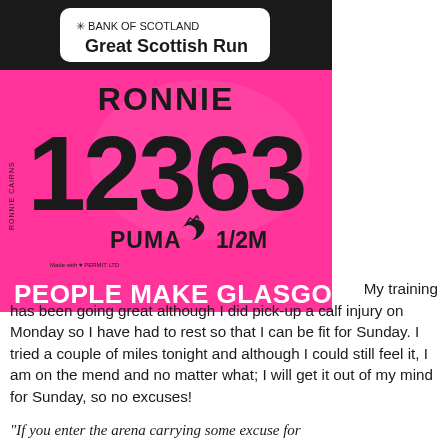[Figure (photo): A pink running race bib number for the Bank of Scotland Great Scottish Run. The bib shows: runner name RONNIE, number 12363, Puma logo with 1/2M (half marathon), and 'PEOPLE MAKE GLASGOW' at the bottom. There is rotated text on the left side reading 'RONNIE CAIRNS'. The top of the bib has a black background with a white rounded rectangle containing the Bank of Scotland snowflake logo and 'Great Scottish Run' text.]
My training has been going great although I did pick-up a calf injury on Monday so I have had to rest so that I can be fit for Sunday. I tried a couple of miles tonight and although I could still feel it, I am on the mend and no matter what; I will get it out of my mind for Sunday, so no excuses!
"If you enter the arena carrying some excuse for